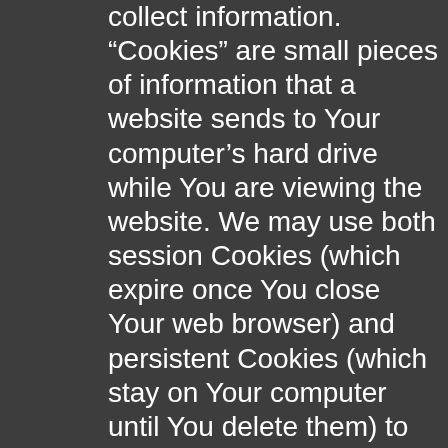collect information. “Cookies” are small pieces of information that a website sends to Your computer’s hard drive while You are viewing the website. We may use both session Cookies (which expire once You close Your web browser) and persistent Cookies (which stay on Your computer until You delete them) to provide You with a more personal and interactive user experience. This type of information is collected to make Our Site and Service more useful to You and to tailor the experience with Us to meet Your special interests and needs. Pixel Tags. In addition, We use...